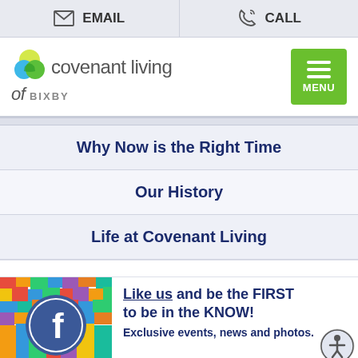EMAIL  CALL
[Figure (logo): Covenant Living of Bixby logo with green menu button]
Why Now is the Right Time
Our History
Life at Covenant Living
[Figure (illustration): Facebook logo on colorful confetti background with 'Like us and be the FIRST to be in the KNOW! Exclusive events, news and photos.' text and accessibility icon]